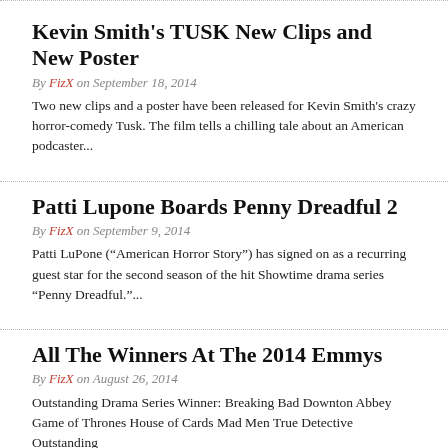Kevin Smith's TUSK New Clips and New Poster
By FizX on September 18, 2014
Two new clips and a poster have been released for Kevin Smith's crazy horror-comedy Tusk. The film tells a chilling tale about an American podcaster...
Patti Lupone Boards Penny Dreadful 2
By FizX on September 9, 2014
Patti LuPone (“American Horror Story”) has signed on as a recurring guest star for the second season of the hit Showtime drama series “Penny Dreadful.”...
All The Winners At The 2014 Emmys
By FizX on August 26, 2014
Outstanding Drama Series Winner: Breaking Bad Downton Abbey Game of Thrones House of Cards Mad Men True Detective Outstanding